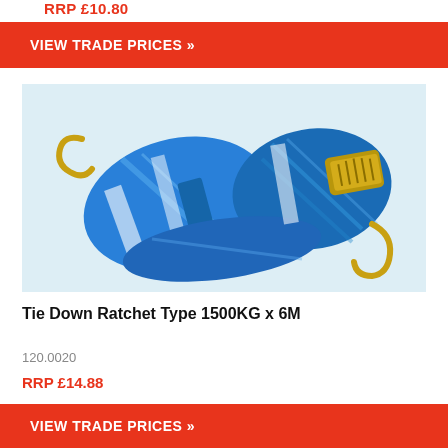RRP £10.80
VIEW TRADE PRICES »
[Figure (photo): Blue tie-down ratchet strap with gold metal hooks, bundled together on a white background]
Tie Down Ratchet Type 1500KG x 6M
120.0020
RRP £14.88
VIEW TRADE PRICES »